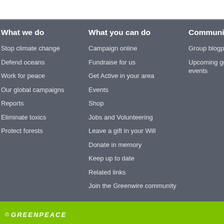What we do
Stop climate change
Defend oceans
Work for peace
Our global campaigns
Reports
Eliminate toxics
Protect forests
What you can do
Campaign online
Fundraise for us
Get Active in your area
Events
Shop
Jobs and Volunteering
Leave a gift in your Will
Donate in memory
Keep up to date
Related links
Join the Greenwire community
Communities
Group blogposts
Upcoming group events
© GREENPEACE